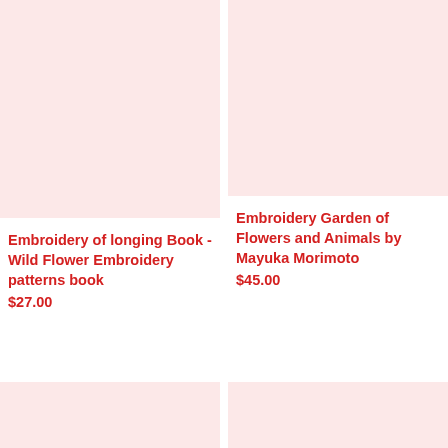[Figure (other): Pink/blush colored product image placeholder for embroidery book - top left]
Embroidery of longing Book - Wild Flower Embroidery patterns book
$27.00
[Figure (other): Pink/blush colored product image placeholder for embroidery garden book - top right]
Embroidery Garden of Flowers and Animals by Mayuka Morimoto
$45.00
[Figure (other): Pink/blush colored product image placeholder - bottom left]
[Figure (other): Pink/blush colored product image placeholder - bottom right]